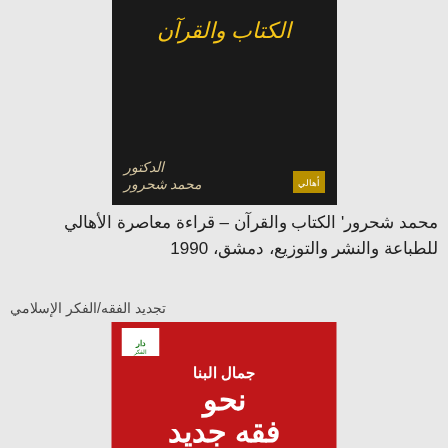[Figure (photo): Book cover of 'Al-Kitab wal-Quran' by Muhammad Shahrour - black cover with yellow Arabic calligraphy title and author name in gold script]
محمد شحرور' الكتاب والقرآن – قراءة معاصرة الأهالي للطباعة والنشر والتوزيع، دمشق، 1990
تجديد الفقه/الفكر الإسلامي
[Figure (photo): Book cover of 'Nahw Fiqh Jadid' (Towards a New Jurisprudence) by Jamal al-Banna - red cover with white Arabic text]